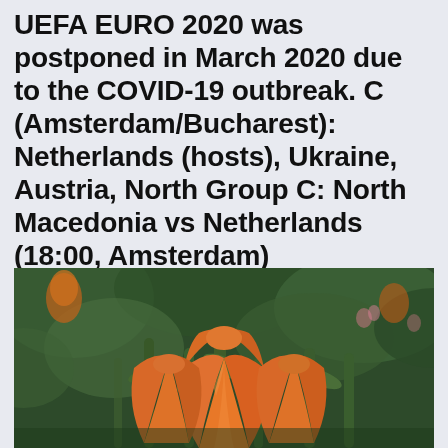UEFA EURO 2020 was postponed in March 2020 due to the COVID-19 outbreak. C (Amsterdam/Bucharest): Netherlands (hosts), Ukraine, Austria, North Group C: North Macedonia vs Netherlands (18:00, Amsterdam)
[Figure (photo): Close-up photograph of orange/red tulips in bloom with green stems and blurred green background, with some pink flowers visible in the background.]